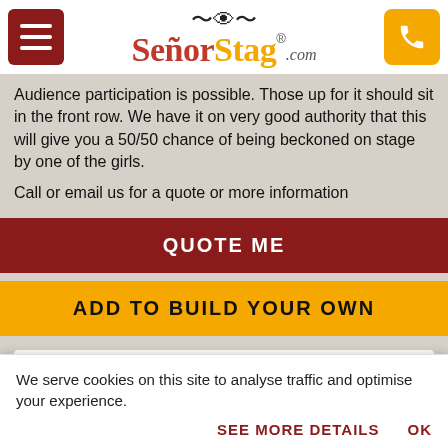SeñorStag.com
Audience participation is possible. Those up for it should sit in the front row. We have it on very good authority that this will give you a 50/50 chance of being beckoned on stage by one of the girls.
Call or email us for a quote or more information
QUOTE ME
ADD TO BUILD YOUR OWN
TOP 5 DESTINATIONS
[Figure (photo): Blue sky with clouds, used as a header image for destinations section]
We serve cookies on this site to analyse traffic and optimise your experience.
SEE MORE DETAILS   OK